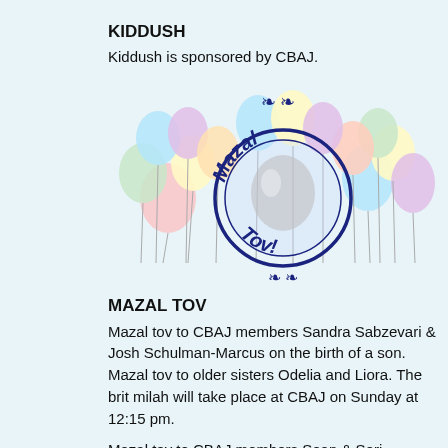KIDDUSH
Kiddush is sponsored by CBAJ.
[Figure (illustration): Mazal Tov illustration with colorful balloons and a circular stamp reading 'Mazal Tov!' in dark blue text, decorated with ornamental scrollwork at top and bottom.]
MAZAL TOV
Mazal tov to CBAJ members Sandra Sabzevari & Josh Schulman-Marcus on the birth of a son. Mazal tov to older sisters Odelia and Liora. The brit milah will take place at CBAJ on Sunday at 12:15 pm.
Mazal tov to CBAJ members Sean & Seri Ference on the birth of a son. Mazal tov to the grandparents.